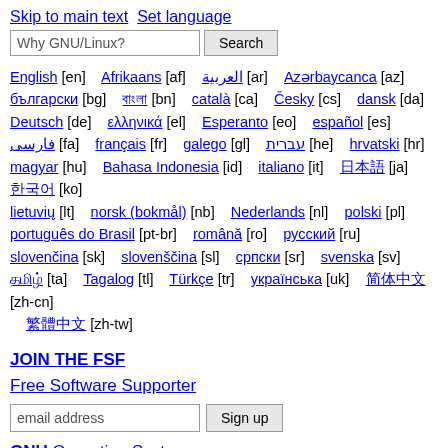Skip to main text  Set language
Why GNU/Linux? [search box] Search [button]
English [en]   Afrikaans [af]   العربية [ar]   Azərbaycanca [az]   български [bg]   বাংলা [bn]   català [ca]   Česky [cs]   dansk [da]   Deutsch [de]   ελληνικά [el]   Esperanto [eo]   español [es]   فارسی [fa]   français [fr]   galego [gl]   עברית [he]   hrvatski [hr]   magyar [hu]   Bahasa Indonesia [id]   italiano [it]   日本語 [ja]   한국어 [ko]   lietuvių [lt]   norsk (bokmål) [nb]   Nederlands [nl]   polski [pl]   português do Brasil [pt-br]   română [ro]   русский [ru]   slovenčina [sk]   slovenščina [sl]   српски [sr]   svenska [sv]   தமிழ் [ta]   Tagalog [tl]   Türkçe [tr]   українська [uk]   简体中文 [zh-cn]   繁體中文 [zh-tw]
JOIN THE FSF
Free Software Supporter
email address [input] Sign up [button]
GNU Operating System
Sponsored by the Free Software Foundation
About GNU